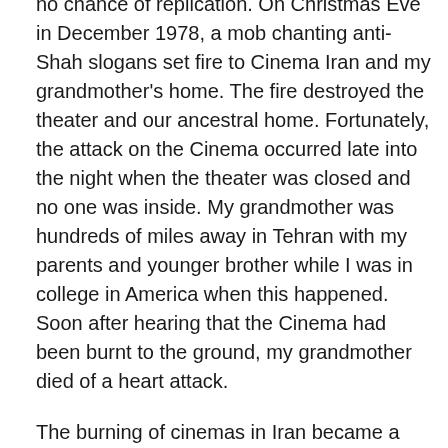no chance of replication. On Christmas Eve in December 1978, a mob chanting anti-Shah slogans set fire to Cinema Iran and my grandmother's home. The fire destroyed the theater and our ancestral home. Fortunately, the attack on the Cinema occurred late into the night when the theater was closed and no one was inside. My grandmother was hundreds of miles away in Tehran with my parents and younger brother while I was in college in America when this happened. Soon after hearing that the Cinema had been burnt to the ground, my grandmother died of a heart attack.
The burning of cinemas in Iran became a symbol of the Islamic Revolution's slash-and-burn war against the Shah's regime, leading to its overthrow in January 1979 and ending Iran's centuries' old monarchical dynasties. Soon after installing the Ayatollah Khomeini as Iran's